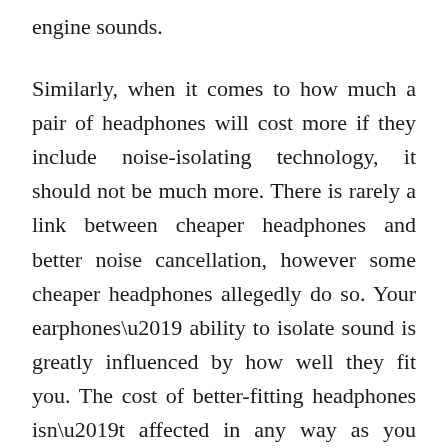constant wind noise and other motorcycle engine sounds.
Similarly, when it comes to how much a pair of headphones will cost more if they include noise-isolating technology, it should not be much more. There is rarely a link between cheaper headphones and better noise cancellation, however some cheaper headphones allegedly do so. Your earphones’ ability to isolate sound is greatly influenced by how well they fit you. The cost of better-fitting headphones isn’t affected in any way as you don’t expect to pay more.